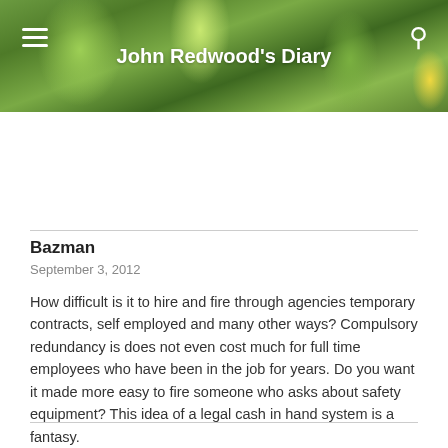John Redwood's Diary
Bazman
September 3, 2012
How difficult is it to hire and fire through agencies temporary contracts, self employed and many other ways? Compulsory redundancy is does not even cost much for full time employees who have been in the job for years. Do you want it made more easy to fire someone who asks about safety equipment? This idea of a legal cash in hand system is a fantasy.